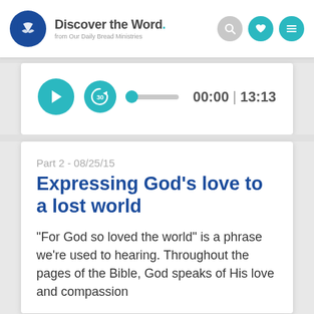Discover the Word. from Our Daily Bread Ministries
[Figure (screenshot): Audio player controls with play button, 30-second replay button, progress bar, and time display showing 00:00 | 13:13]
Part 2 - 08/25/15
Expressing God’s love to a lost world
“For God so loved the world” is a phrase we’re used to hearing. Throughout the pages of the Bible, God speaks of His love and compassion